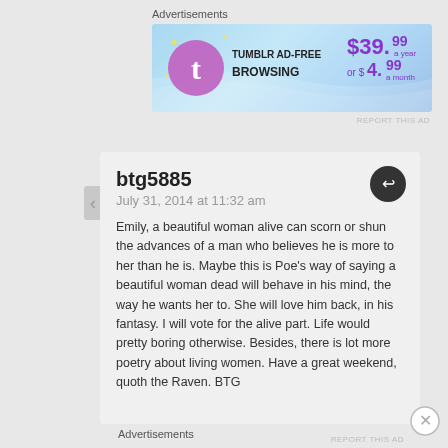Advertisements
[Figure (illustration): Tumblr Ad-Free Browsing advertisement banner. Shows Tumblr logo with sparkles, text 'TUMBLR AD-FREE BROWSING', and pricing '$39.99 a year or $4.99 a month' on a blue gradient background.]
REPORT THIS AD
btg5885
July 31, 2014 at 11:32 am
Emily, a beautiful woman alive can scorn or shun the advances of a man who believes he is more to her than he is. Maybe this is Poe’s way of saying a beautiful woman dead will behave in his mind, the way he wants her to. She will love him back, in his fantasy. I will vote for the alive part. Life would pretty boring otherwise. Besides, there is lot more poetry about living women. Have a great weekend, quoth the Raven. BTG
Advertisements